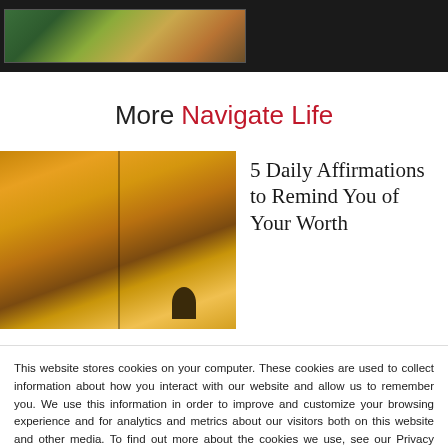[Figure (photo): Top navigation bar with dark background showing landscape/nature image thumbnails]
More Navigate Life
[Figure (photo): Warm golden-toned nature photo split into two panels, showing trees and a person silhouette sitting outdoors]
5 Daily Affirmations to Remind You of Your Worth
This website stores cookies on your computer. These cookies are used to collect information about how you interact with our website and allow us to remember you. We use this information in order to improve and customize your browsing experience and for analytics and metrics about our visitors both on this website and other media. To find out more about the cookies we use, see our Privacy Policy.
Accept
Don't ask me again